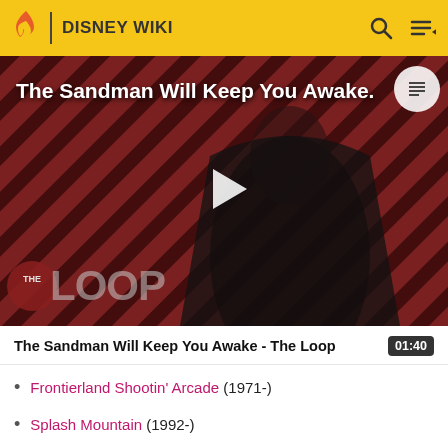DISNEY WIKI
[Figure (screenshot): Video thumbnail showing a dark-cloaked figure against a red and black diagonal striped background. Overlay text reads 'The Sandman Will Keep You Awake.' with a play button in the center. 'THE LOOP' watermark appears at bottom left.]
The Sandman Will Keep You Awake - The Loop  01:40
Frontierland Shootin' Arcade (1971-)
Splash Mountain (1992-)
Tom Sawyer Island (1973-2020, 2021-)